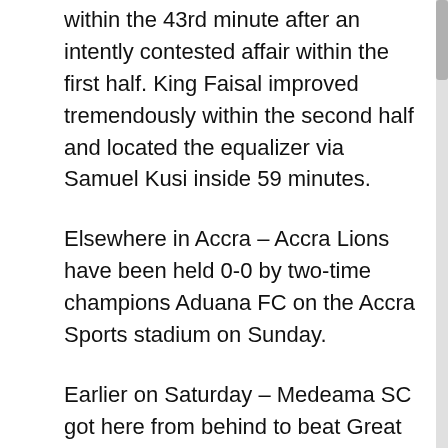within the 43rd minute after an intently contested affair within the first half. King Faisal improved tremendously within the second half and located the equalizer via Samuel Kusi inside 59 minutes.
Elsewhere in Accra – Accra Lions have been held 0-0 by two-time champions Aduana FC on the Accra Sports stadium on Sunday.
Earlier on Saturday – Medeama SC got here from behind to beat Great Olympics 2-1 on the Accra Sports stadium. Maxwell Abbey Quaye netted first for Great Olympics inside 18 minutes however Vincent Atinga cancelled the lead after connecting from the spot within the 35th minute.
The dwelling facet created extra first rate possibilities